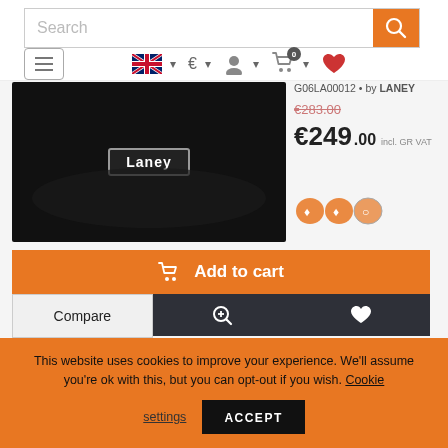Search bar with orange search button and navigation icons (hamburger, GB flag, Euro, user, cart 0, heart)
[Figure (photo): Laney guitar amplifier/speaker cabinet, black, with 'Laney' label on front]
G06LA00012 • by LANEY
€283.00 (strikethrough)
€249.00 incl. GR VAT
[Figure (illustration): Payment method icons in orange]
Add to cart
Compare
This website uses cookies to improve your experience. We'll assume you're ok with this, but you can opt-out if you wish. Cookie settings ACCEPT